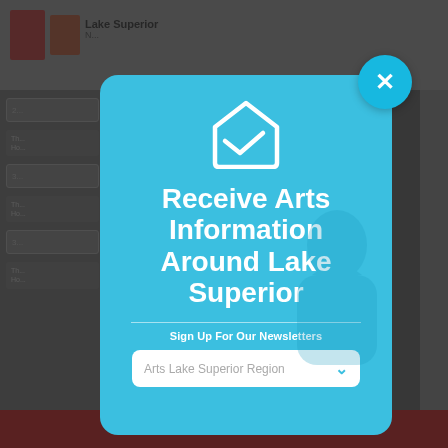[Figure (screenshot): Website popup/modal overlay on a news website. The modal has a cyan/sky-blue background with a white envelope icon at top, large white bold text reading 'Receive Arts Information Around Lake Superior', a divider line, text 'Sign Up For Our Newsletters', and a white dropdown field labeled 'Arts Lake Superior Region'. A cyan close button with an X appears at top-right of the modal. The background shows a partially visible website with flags, navigation boxes, and a red banner at the bottom.]